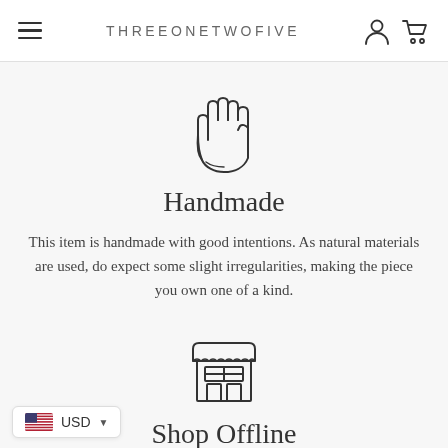THREEONETWOFIVE
[Figure (illustration): Hand icon (open hand with spread fingers, outline style)]
Handmade
This item is handmade with good intentions. As natural materials are used, do expect some slight irregularities, making the piece you own one of a kind.
[Figure (illustration): Shop/storefront icon with awning, window and door, outline style]
Shop Offline
Not sure how this looks on you? Visit our stockists or visit our studio to try these on.